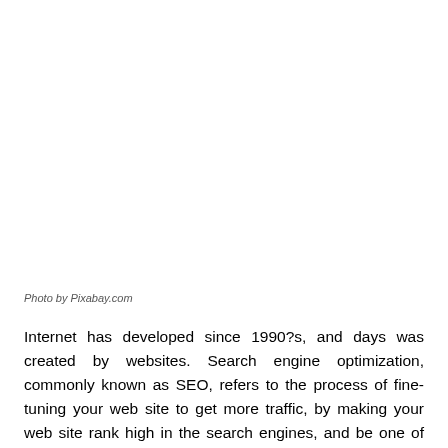[Figure (photo): Blank white photo placeholder area]
Photo by Pixabay.com
Internet has developed since 1990?s, and days was created by websites. Search engine optimization, commonly known as SEO, refers to the process of fine-tuning your web site to get more traffic, by making your web site rank high in the search engines, and be one of the first results a prospective customer